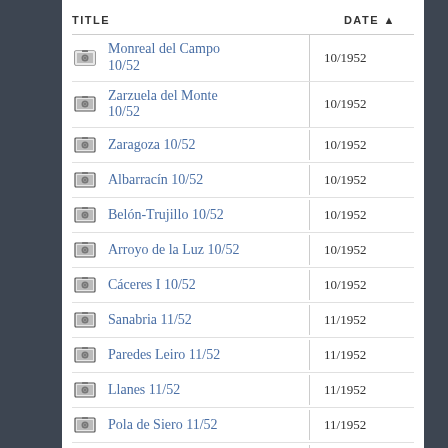| TITLE | DATE ▲ |
| --- | --- |
| Monreal del Campo 10/52 | 10/1952 |
| Zarzuela del Monte 10/52 | 10/1952 |
| Zaragoza 10/52 | 10/1952 |
| Albarracín 10/52 | 10/1952 |
| Belón-Trujillo 10/52 | 10/1952 |
| Arroyo de la Luz 10/52 | 10/1952 |
| Cáceres I 10/52 | 10/1952 |
| Sanabria 11/52 | 11/1952 |
| Paredes Leiro 11/52 | 11/1952 |
| Llanes 11/52 | 11/1952 |
| Pola de Siero 11/52 | 11/1952 |
| Luarca 11/52 | 11/1952 |